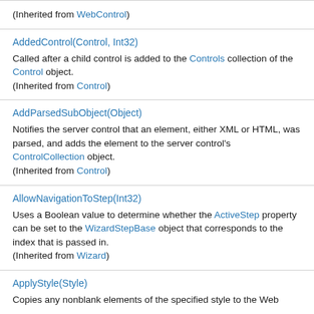(Inherited from WebControl)
AddedControl(Control, Int32)
Called after a child control is added to the Controls collection of the Control object.
(Inherited from Control)
AddParsedSubObject(Object)
Notifies the server control that an element, either XML or HTML, was parsed, and adds the element to the server control's ControlCollection object.
(Inherited from Control)
AllowNavigationToStep(Int32)
Uses a Boolean value to determine whether the ActiveStep property can be set to the WizardStepBase object that corresponds to the index that is passed in.
(Inherited from Wizard)
ApplyStyle(Style)
Copies any nonblank elements of the specified style to the Web...